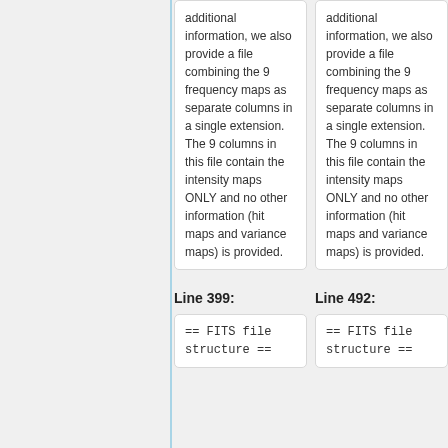additional information, we also provide a file combining the 9 frequency maps as separate columns in a single extension. The 9 columns in this file contain the intensity maps ONLY and no other information (hit maps and variance maps) is provided.
additional information, we also provide a file combining the 9 frequency maps as separate columns in a single extension. The 9 columns in this file contain the intensity maps ONLY and no other information (hit maps and variance maps) is provided.
Line 399:
Line 492:
== FITS file structure ==
== FITS file structure ==